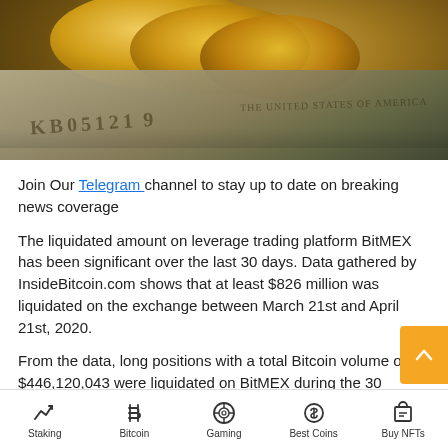[Figure (photo): Close-up photo of gold bitcoin coins resting on US dollar bills]
Join Our Telegram channel to stay up to date on breaking news coverage
The liquidated amount on leverage trading platform BitMEX has been significant over the last 30 days. Data gathered by InsideBitcoin.com shows that at least $826 million was liquidated on the exchange between March 21st and April 21st, 2020.
From the data, long positions with a total Bitcoin volume of $446,120,043 were liquidated on BitMEX during the 30
Staking | Bitcoin | Gaming | Best Coins | Buy NFTs